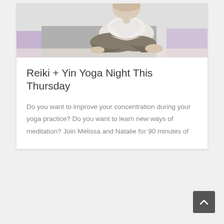[Figure (photo): Person sitting cross-legged on a yoga mat in a meditation pose, wearing grey pants and white top, on a grey and purple mat]
Reiki + Yin Yoga Night This Thursday
Do you want to improve your concentration during your yoga practice? Do you want to learn new ways of meditation? Join Melissa and Natalie for 90 minutes of